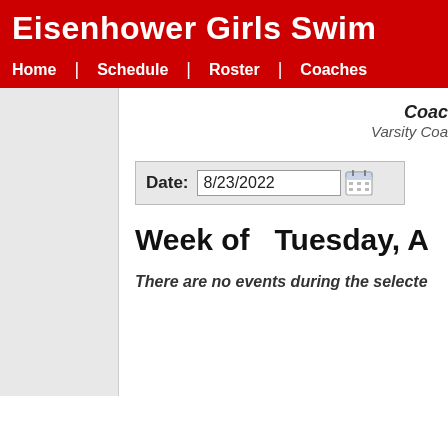Eisenhower Girls Swim
Home | Schedule | Roster | Coaches
Coac
Varsity Coa
Date: 8/23/2022
Week of  Tuesday, A
There are no events during the selecte